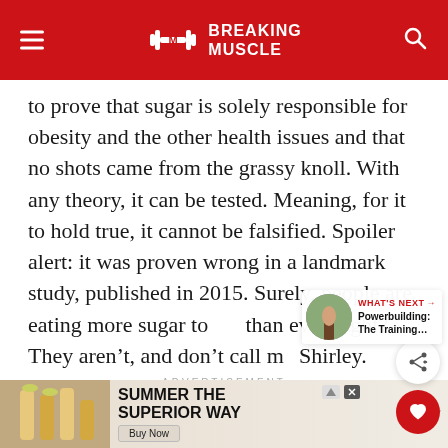Breaking Muscle
to prove that sugar is solely responsible for obesity and the other health issues and that no shots came from the grassy knoll. With any theory, it can be tested. Meaning, for it to hold true, it cannot be falsified. Spoiler alert: it was proven wrong in a landmark study, published in 2015. Surely, people are eating more sugar today than ever, right? They aren't, and don't call me Shirley.
ADVERTISEMENT
[Figure (screenshot): Advertisement banner: Summer The Superior Way with Buy Now button]